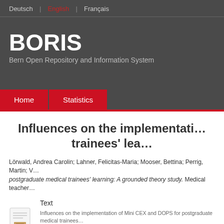Deutsch | English | Français
BORIS
Bern Open Repository and Information System
Home   Statistics
Influences on the implementation... trainees' lea...
Lörwald, Andrea Carolin; Lahner, Felicitas-Maria; Mooser, Bettina; Perrig, Martin; V... postgraduate medical trainees' learning: A grounded theory study. Medical teacher...
Text
Influences on the implementation of Mini CEX and DOPS for postgraduate medical trainees...
Restricted to registered users only
Available under License Publisher holds Copyright.
Download (1MB) | Request a copy